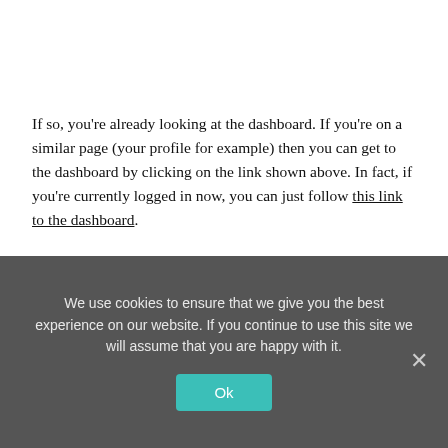If so, you're already looking at the dashboard. If you're on a similar page (your profile for example) then you can get to the dashboard by clicking on the link shown above. In fact, if you're currently logged in now, you can just follow this link to the dashboard.
If when you log in, the page looks more like this (i.e. a normal page on the website):
We use cookies to ensure that we give you the best experience on our website. If you continue to use this site we will assume that you are happy with it.